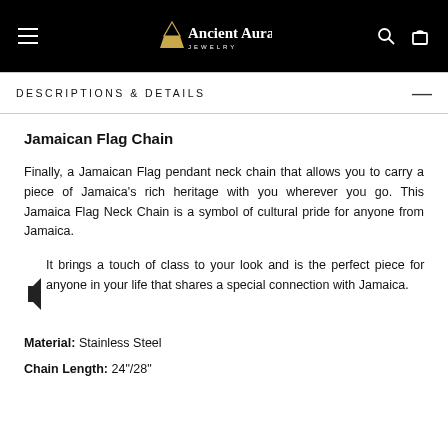[Figure (logo): Ancient Aura Jewelry logo with gold pyramid icon on black header bar, with hamburger menu, search icon, and bag icon]
DESCRIPTIONS & DETAILS
Jamaican Flag Chain
Finally, a Jamaican Flag pendant neck chain that allows you to carry a piece of Jamaica's rich heritage with you wherever you go. This Jamaica Flag Neck Chain is a symbol of cultural pride for anyone from Jamaica.
It brings a touch of class to your look and is the perfect piece for anyone in your life that shares a special connection with Jamaica.
Material: Stainless Steel
Chain Length: 24"/28"